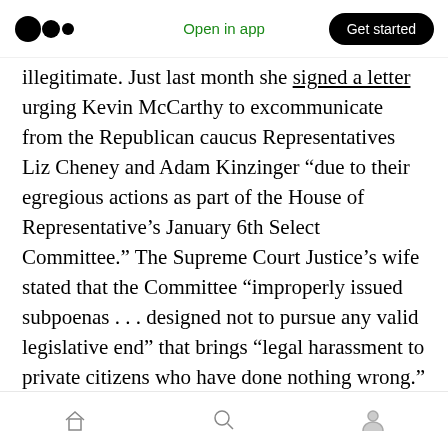Open in app | Get started
illegitimate. Just last month she signed a letter urging Kevin McCarthy to excommunicate from the Republican caucus Representatives Liz Cheney and Adam Kinzinger “due to their egregious actions as part of the House of Representative’s January 6th Select Committee.” The Supreme Court Justice’s wife stated that the Committee “improperly issued subpoenas . . . designed not to pursue any valid legislative end” that brings “legal harassment to private citizens who have done nothing wrong.”
Ginni Thomas signed that letter and there are